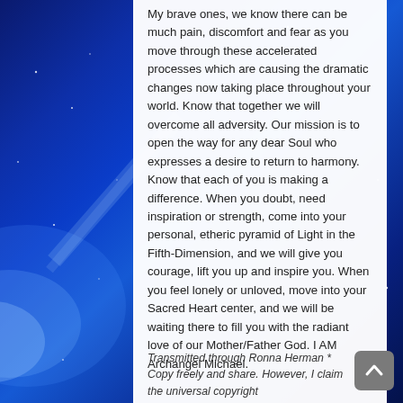My brave ones, we know there can be much pain, discomfort and fear as you move through these accelerated processes which are causing the dramatic changes now taking place throughout your world. Know that together we will overcome all adversity. Our mission is to open the way for any dear Soul who expresses a desire to return to harmony. Know that each of you is making a difference. When you doubt, need inspiration or strength, come into your personal, etheric pyramid of Light in the Fifth-Dimension, and we will give you courage, lift you up and inspire you. When you feel lonely or unloved, move into your Sacred Heart center, and we will be waiting there to fill you with the radiant love of our Mother/Father God. I AM Archangel Michael.
Transmitted through Ronna Herman * Copy freely and share. However, I claim the universal copyright